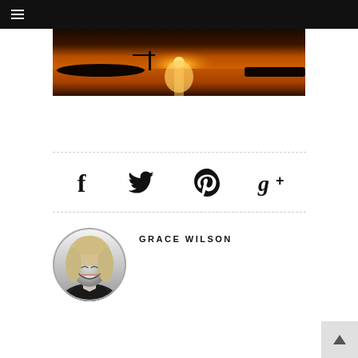Navigation menu (hamburger icon)
[Figure (photo): Sunset over a lake or bay with a dock/pier silhouette and golden reflections on the water]
[Figure (infographic): Social sharing icons row: Facebook (f), Twitter (bird), Pinterest (p), Google+ (g+)]
[Figure (photo): Circular black-and-white portrait photo of Grace Wilson, a smiling blonde woman]
GRACE WILSON